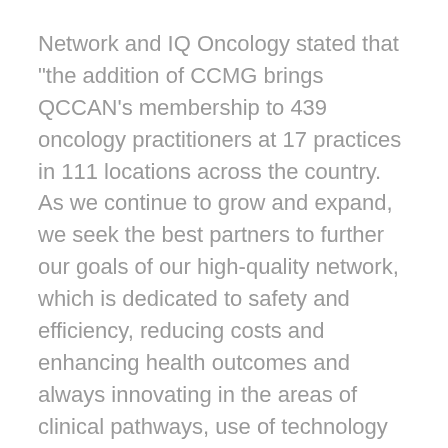Network and IQ Oncology stated that "the addition of CCMG brings QCCAN's membership to 439 oncology practitioners at 17 practices in 111 locations across the country. As we continue to grow and expand, we seek the best partners to further our goals of our high-quality network, which is dedicated to safety and efficiency, reducing costs and enhancing health outcomes and always innovating in the areas of clinical pathways, use of technology and professional collaborations. CCMG is a perfect fit in furthering those goals."
QCCAN is the only fully independent national network that brings together practices under a